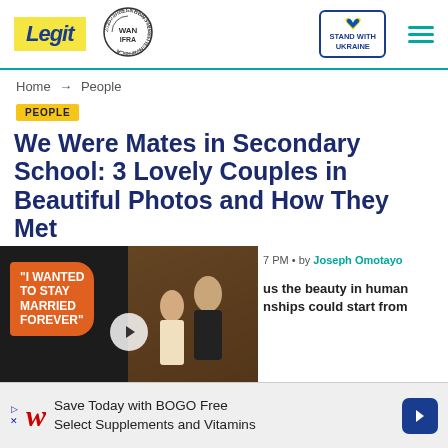[Figure (logo): Legit.ng website header with Legit logo in yellow, WAN-IFRA 2021 Best News Website in Africa badge, Stand with Ukraine badge, and hamburger menu]
Home → People
PEOPLE
We Were Mates in Secondary School: 3 Lovely Couples in Beautiful Photos and How They Met
[Figure (photo): Video thumbnail overlay showing a couple (man and woman) with orange speech bubble text 'I WANTED TO STAY MARRIED FOREVER' and a play button]
7 PM • by Joseph Omotayo
us the beauty in human nships could start from
[Figure (other): Advertisement banner: Save Today with BOGO Free Select Supplements and Vitamins - Walgreens]